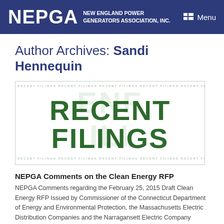NEPGA NEW ENGLAND POWER GENERATORS ASSOCIATION, INC. Menu
Author Archives: Sandi Hennequin
[Figure (illustration): Recent Filings banner image with large green bold text 'RECENT FILINGS' on white background with repeated watermark text rows top and bottom.]
NEPGA Comments on the Clean Energy RFP
NEPGA Comments regarding the February 25, 2015 Draft Clean Energy RFP Issued by Commissioner of the Connecticut Department of Energy and Environmental Protection, the Massachusetts Electric Distribution Companies and the Narragansett Electric Company
[Figure (illustration): Second Recent Filings banner image (partially visible), same style as above with green bold 'RECENT' text visible.]